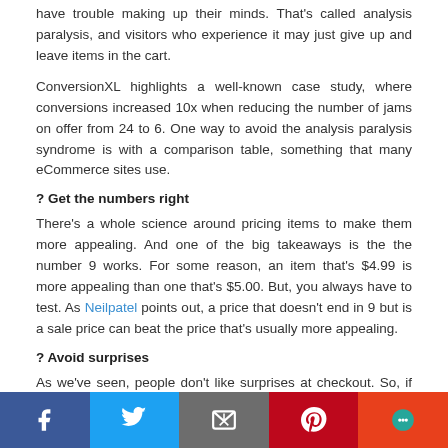have trouble making up their minds. That's called analysis paralysis, and visitors who experience it may just give up and leave items in the cart.
ConversionXL highlights a well-known case study, where conversions increased 10x when reducing the number of jams on offer from 24 to 6. One way to avoid the analysis paralysis syndrome is with a comparison table, something that many eCommerce sites use.
? Get the numbers right
There's a whole science around pricing items to make them more appealing. And one of the big takeaways is the the number 9 works. For some reason, an item that's $4.99 is more appealing than one that's $5.00. But, you always have to test. As Neilpatel points out, a price that doesn't end in 9 but is a sale price can beat the price that's usually more appealing.
? Avoid surprises
As we've seen, people don't like surprises at checkout. So, if there's a cost attached to shipping the item, make this clear the minute they get to
Social share bar: Facebook, Twitter, Email, Pinterest, Chat